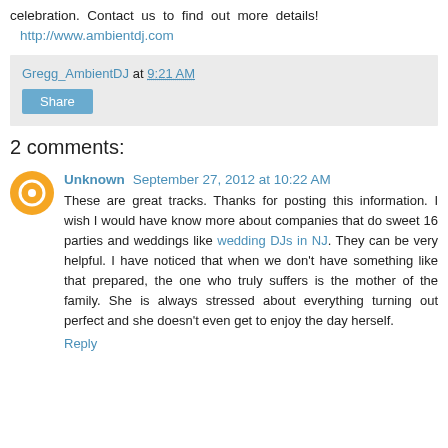celebration. Contact us to find out more details! http://www.ambientdj.com
Gregg_AmbientDJ at 9:21 AM
Share
2 comments:
Unknown September 27, 2012 at 10:22 AM
These are great tracks. Thanks for posting this information. I wish I would have know more about companies that do sweet 16 parties and weddings like wedding DJs in NJ. They can be very helpful. I have noticed that when we don't have something like that prepared, the one who truly suffers is the mother of the family. She is always stressed about everything turning out perfect and she doesn't even get to enjoy the day herself.
Reply